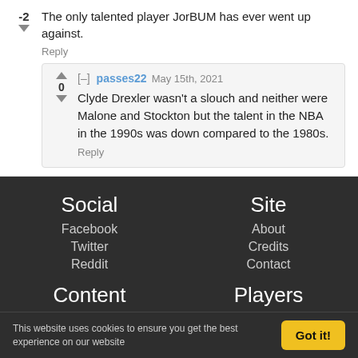-2  The only talented player JorBUM has ever went up against.
Reply
passes22  May 15th, 2021
0  Clyde Drexler wasn't a slouch and neither were Malone and Stockton but the talent in the NBA in the 1990s was down compared to the 1980s.
Reply
Social
Facebook
Twitter
Reddit
Site
About
Credits
Contact
Content
Users
Comments
Reports
Players
2K21
2K20
2K19
This website uses cookies to ensure you get the best experience on our website
Got it!